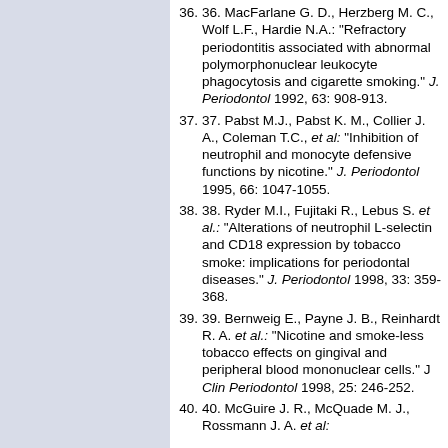36. MacFarlane G. D., Herzberg M. C., Wolf L.F., Hardie N.A.: "Refractory periodontitis associated with abnormal polymorphonuclear leukocyte phagocytosis and cigarette smoking." J. Periodontol 1992, 63: 908-913.
37. Pabst M.J., Pabst K. M., Collier J. A., Coleman T.C., et al: "Inhibition of neutrophil and monocyte defensive functions by nicotine." J. Periodontol 1995, 66: 1047-1055.
38. Ryder M.I., Fujitaki R., Lebus S. et al.: "Alterations of neutrophil L-selectin and CD18 expression by tobacco smoke: implications for periodontal diseases." J. Periodontol 1998, 33: 359-368.
39. Bernweig E., Payne J. B., Reinhardt R. A. et al.: "Nicotine and smoke-less tobacco effects on gingival and peripheral blood mononuclear cells." J Clin Periodontol 1998, 25: 246-252.
40. McGuire J. R., McQuade M. J., Rossmann J. A. et al: